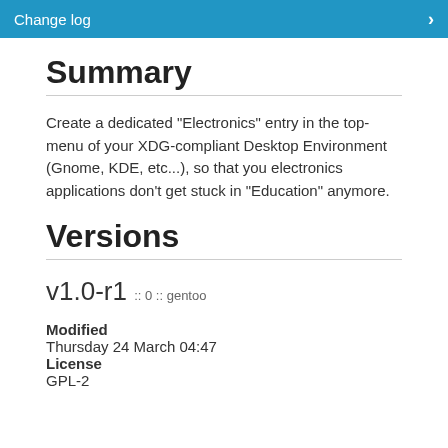Change log
Summary
Create a dedicated "Electronics" entry in the top-menu of your XDG-compliant Desktop Environment (Gnome, KDE, etc...), so that you electronics applications don't get stuck in "Education" anymore.
Versions
v1.0-r1 :: 0 :: gentoo
Modified
Thursday 24 March 04:47
License
GPL-2